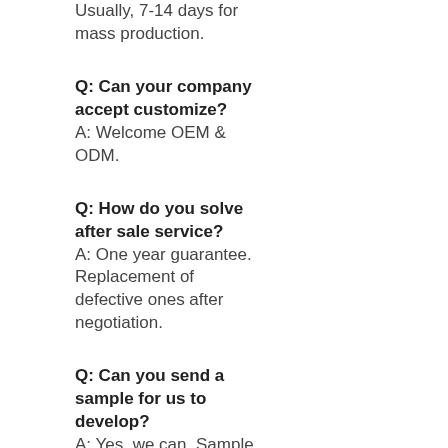Usually, 7-14 days for mass production.
Q: Can your company accept customize?
A: Welcome OEM & ODM.
Q: How do you solve after sale service?
A: One year guarantee. Replacement of defective ones after negotiation.
Q: Can you send a sample for us to develop?
A: Yes, we can. Sample